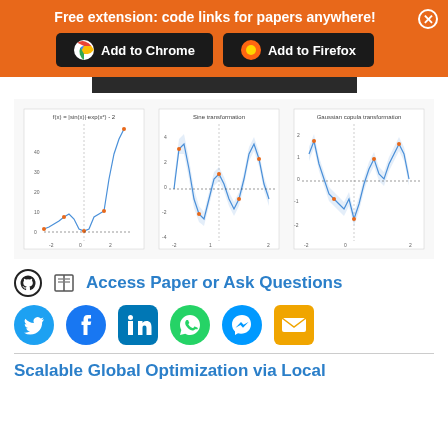Free extension: code links for papers anywhere!
Add to Chrome | Add to Firefox
[Figure (continuous-plot): Three line plots side by side. Left plot titled 'f(x) = |sin(x)|*exp(x^2) - 2' showing a curve with y-axis 0 to 40 and x-axis -2 to 2. Middle plot titled 'Sine transformation' showing oscillating curves. Right plot titled 'Gaussian copula transformation' showing oscillating curves around 0.]
Access Paper or Ask Questions
Social share icons: Twitter, Facebook, LinkedIn, WhatsApp, Messenger, Email
Scalable Global Optimization via Local